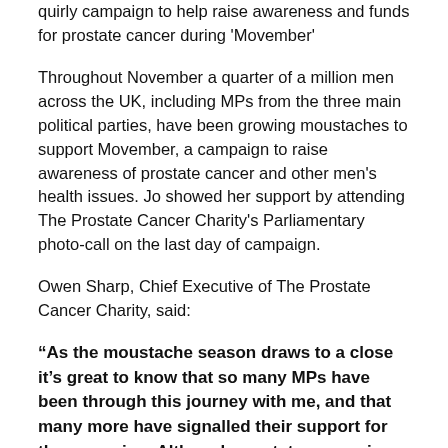quirly campaign to help raise awareness and funds for prostate cancer during 'Movember'
Throughout November a quarter of a million men across the UK, including MPs from the three main political parties, have been growing moustaches to support Movember, a campaign to raise awareness of prostate cancer and other men's health issues. Jo showed her support by attending The Prostate Cancer Charity's Parliamentary photo-call on the last day of campaign.
Owen Sharp, Chief Executive of The Prostate Cancer Charity, said:
“As the moustache season draws to a close it’s great to know that so many MPs have been through this journey with me, and that many more have signalled their support for the campaign. Although prostate cancer is the most common cancer in men, it lags behind other common cancers, both in terms of investment in research and in awareness. The